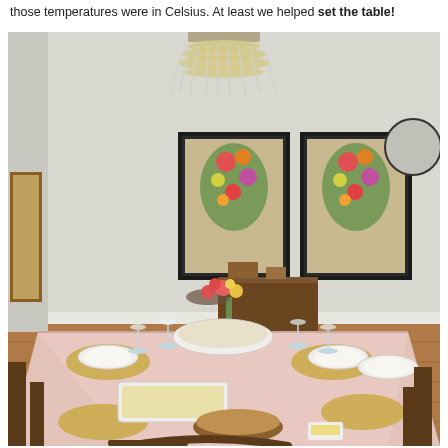those temperatures were in Celsius. At least we helped set the table!
[Figure (photo): A formal dining room with a set table covered in a pink tablecloth. The table is set with plates, wine glasses, a floral centerpiece of red and yellow roses, a bowl of food, a basket of bread, and a dish of butter. Two framed botanical prints hang on the white wall, and a crystal chandelier hangs from the ceiling. Wooden chairs surround the table. A dark wooden sideboard is visible in the background.]